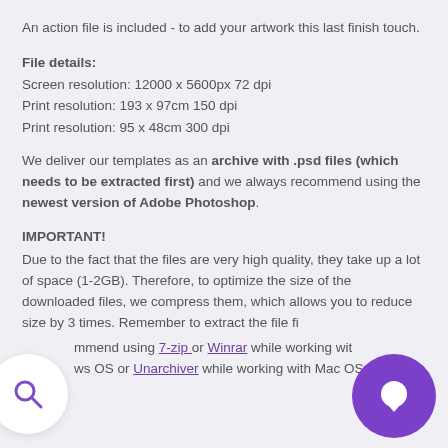An action file is included - to add your artwork this last finish touch.
File details:
Screen resolution: 12000 x 5600px 72 dpi
Print resolution: 193 x 97cm 150 dpi
Print resolution: 95 x 48cm 300 dpi
We deliver our templates as an archive with .psd files (which needs to be extracted first) and we always recommend using the newest version of Adobe Photoshop.
IMPORTANT!
Due to the fact that the files are very high quality, they take up a lot of space (1-2GB). Therefore, to optimize the size of the downloaded files, we compress them, which allows you to reduce size by 3 times. Remember to extract the file fi...
...mmend using 7-zip or Winrar while working with Windows OS or Unarchiver while working with Mac OS to